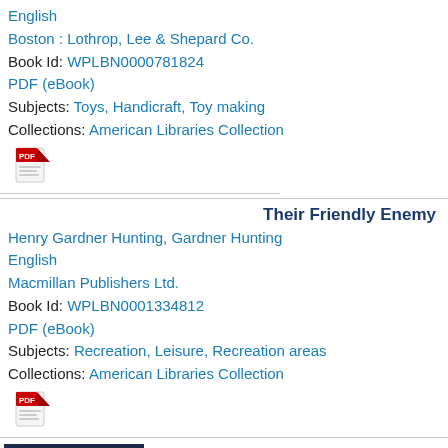English
Boston : Lothrop, Lee & Shepard Co.
Book Id: WPLBN0000781824
PDF (eBook)
Subjects: Toys, Handicraft, Toy making
Collections: American Libraries Collection
[Figure (other): PDF icon]
Their Friendly Enemy
Henry Gardner Hunting, Gardner Hunting
English
Macmillan Publishers Ltd.
Book Id: WPLBN0001334812
PDF (eBook)
Subjects: Recreation, Leisure, Recreation areas
Collections: American Libraries Collection
[Figure (other): PDF icon]
[Figure (other): Book cover for Year Book showing United States Golf Association text on dark navy background]
Year Book
United States Golf Association, Uni...